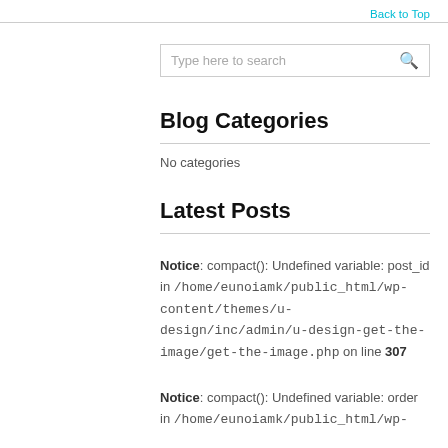Back to Top
[Figure (other): Search input box with placeholder text 'Type here to search' and a search icon]
Blog Categories
No categories
Latest Posts
Notice: compact(): Undefined variable: post_id in /home/eunoiamk/public_html/wp-content/themes/u-design/inc/admin/u-design-get-the-image/get-the-image.php on line 307
Notice: compact(): Undefined variable: order in /home/eunoiamk/public_html/wp-